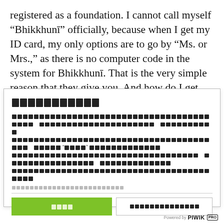registered as a foundation. I cannot call myself “Bhikkhunī” officially, because when I get my ID card, my only options are to go by “Ms. or Mrs.,” as there is no computer code in the system for Bhikkhunī. That is the very simple reason that they give you. And how do I get this computer code? I have to go to the Department of Administration,
[Thai text - modal title]
[Thai body text paragraph]
[Thai small print]
[Thai button label] | [Thai outline button label]
Powered by PIWIK PRO